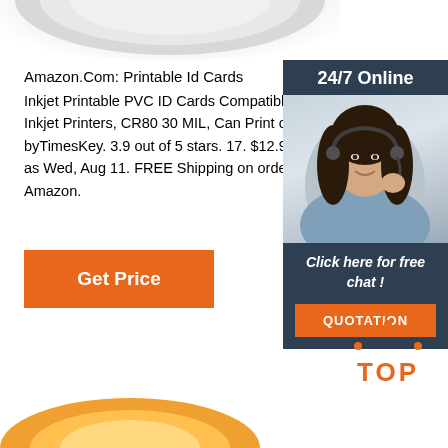[Figure (photo): Partial product image at top (white/grey rounded shape, cropped)]
Amazon.Com: Printable Id Cards
Inkjet Printable PVC ID Cards Compatible with Epson Inkjet Printers, CR80 30 MIL, Can Print on Both Sides byTimesKey. 3.9 out of 5 stars. 17. $12.99. $12. . 99. as Wed, Aug 11. FREE Shipping on orders over $25 Amazon.
[Figure (infographic): Sidebar advertisement with dark blue background. Shows '24/7 Online' header, photo of woman with headset, 'Click here for free chat!' text, and orange QUOTATION button.]
Get Price
[Figure (illustration): Orange TOP button with orange dot pattern above the letters TOP in orange on white background]
[Figure (photo): Partial product image at bottom (orange/yellow rounded shape, cropped)]